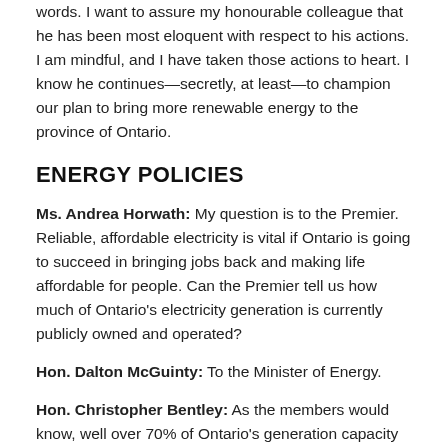words. I want to assure my honourable colleague that he has been most eloquent with respect to his actions. I am mindful, and I have taken those actions to heart. I know he continues—secretly, at least—to champion our plan to bring more renewable energy to the province of Ontario.
ENERGY POLICIES
Ms. Andrea Horwath: My question is to the Premier. Reliable, affordable electricity is vital if Ontario is going to succeed in bringing jobs back and making life affordable for people. Can the Premier tell us how much of Ontario's electricity generation is currently publicly owned and operated?
Hon. Dalton McGuinty: To the Minister of Energy.
Hon. Christopher Bentley: As the members would know, well over 70% of Ontario's generation capacity is publicly owned, publicly operated, owned by all of the people of the